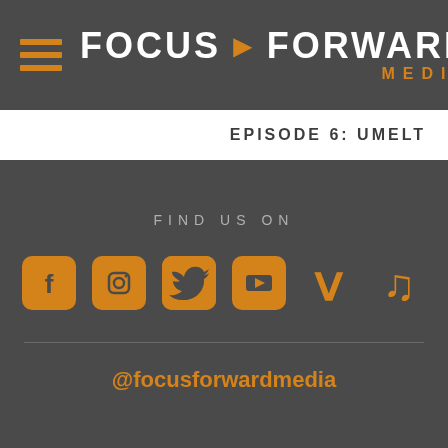[Figure (logo): Focus Forward Media logo with hamburger menu icon (three orange horizontal bars), white bold text 'FOCUS FORWARD' with orange right-pointing triangle, and orange 'MEDIA' text below]
EPISODE 6: UMELT
FIND US ON
[Figure (infographic): Six social media icons in orange: Facebook, Instagram, Twitter, YouTube, Vimeo, TikTok]
@focusforwardmedia